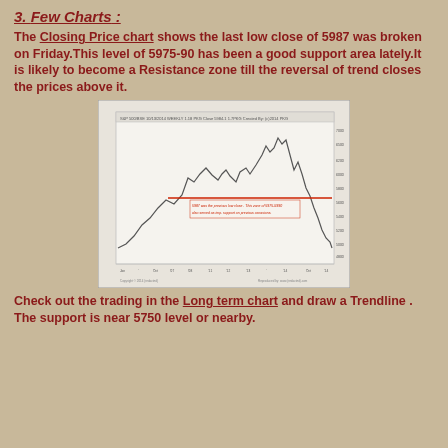3. Few Charts :
The Closing Price chart shows the last low close of 5987 was broken on Friday.This level of 5975-90 has been a good support area lately.It is likely to become a Resistance zone till the reversal of trend closes the prices above it.
[Figure (continuous-plot): S&P 500/BSE weekly closing price chart showing price movement over several years, with a horizontal red support/resistance line drawn at approximately the 5975-5990 level. Annotation text reads: '5987 was the previous low close. This zone of 5975-5990 also served as imp. support on previous occasions.']
Check out the trading in the Long term chart and draw a Trendline . The support is near 5750 level or nearby.